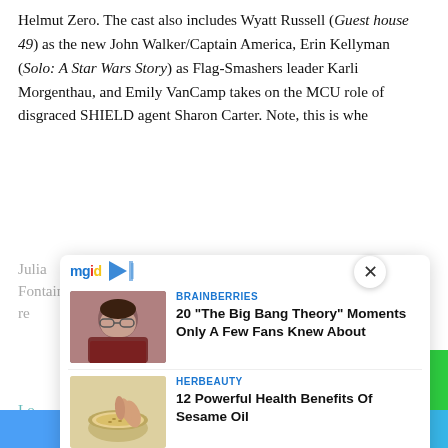Helmut Zero. The cast also includes Wyatt Russell (Guest house 49) as the new John Walker/Captain America, Erin Kellyman (Solo: A Star Wars Story) as Flag-Smashers leader Karli Morgenthau, and Emily VanCamp takes on the MCU role of disgraced SHIELD agent Sharon Carter. Note, this is whe Julia...fus first appeared as Valentina Allegra de Fontaine, a power player who was next seen in Black Widow re...
[Figure (screenshot): MGID ad overlay with close button, showing two sponsored content cards: (1) BRAINBERRIES - '20 The Big Bang Theory Moments Only A Few Fans Knew About' with photo of woman, (2) HERBEAUTY - '12 Powerful Health Benefits Of Sesame Oil' with photo of sesame oil in bowl]
Lo... MC... (ch... a dro... en Wi... big Nov...unique (Lor...eauty). at
Facebook share | Twitter share